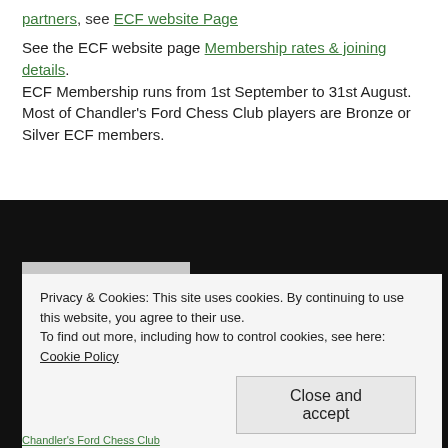partners, see ECF website Page
See the ECF website page Membership rates & joining details. ECF Membership runs from 1st September to 31st August. Most of Chandler's Ford Chess Club players are Bronze or Silver ECF members.
[Figure (photo): A black chess knight piece photographed against a light grey background.]
Privacy & Cookies: This site uses cookies. By continuing to use this website, you agree to their use. To find out more, including how to control cookies, see here: Cookie Policy
Close and accept
Chandler's Ford Chess Club